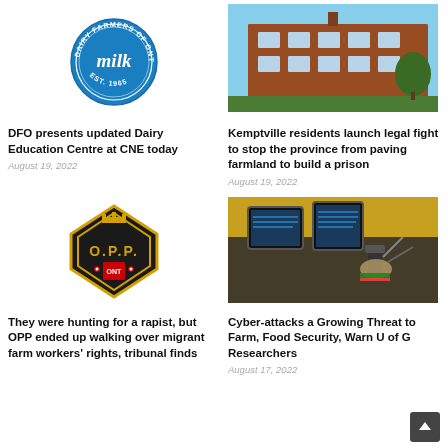[Figure (logo): Dairy Farmers of Ontario milk logo, circular blue badge, EST. 1965]
[Figure (photo): Brick school or institutional building with trees]
DFO presents updated Dairy Education Centre at CNE today
August 19, 2022
Kemptville residents launch legal fight to stop the province from paving farmland to build a prison
August 19, 2022
[Figure (logo): OPP Ontario Provincial Police badge logo, black and yellow diamond shape]
[Figure (photo): Farm tractor cab with digital GPS displays, operator hand visible]
They were hunting for a rapist, but OPP ended up walking over migrant farm workers' rights, tribunal finds
Cyber-attacks a Growing Threat to Farm, Food Security, Warn U of G Researchers
August 17, 2022